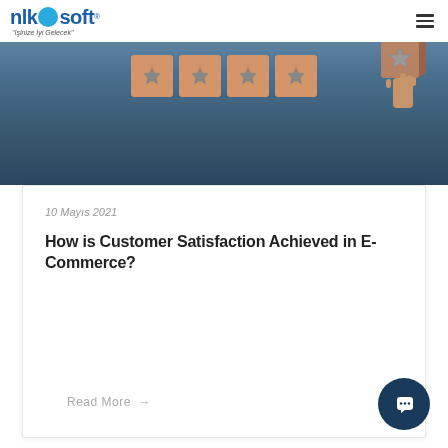nlksoft - İşinize İyi Gelecek
[Figure (photo): Hero image showing wooden blocks with star icons on a blue/gray background, with a hand placing or lifting a block on the right side. Rating/satisfaction concept imagery.]
10 Mayıs 2021
How is Customer Satisfaction Achieved in E-Commerce?
Read More →